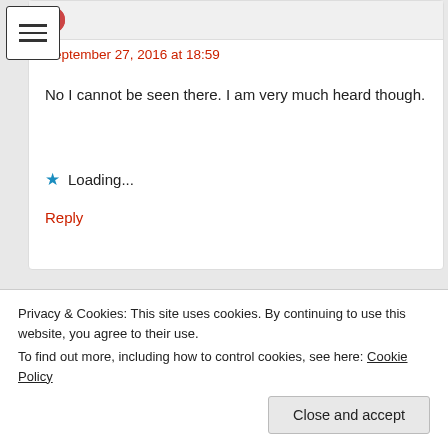[Figure (screenshot): Menu/hamburger icon with three horizontal lines in a bordered box, top-left corner]
September 27, 2016 at 18:59
No I cannot be seen there. I am very much heard though.
Loading...
Reply
???!! says:
Privacy & Cookies: This site uses cookies. By continuing to use this website, you agree to their use.
To find out more, including how to control cookies, see here: Cookie Policy
Close and accept